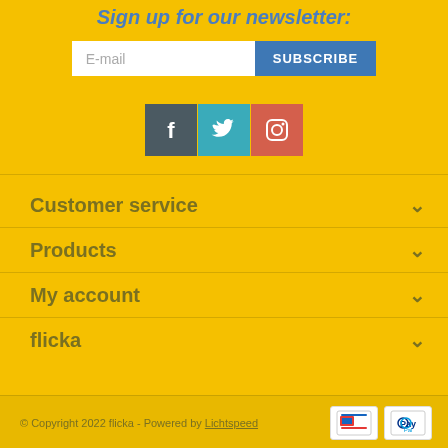Sign up for our newsletter:
E-mail
SUBSCRIBE
[Figure (illustration): Social media icons: Facebook (dark grey background), Twitter (teal background), Instagram (coral/red background)]
Customer service
Products
My account
flicka
© Copyright 2022 flicka - Powered by Lichtspeed